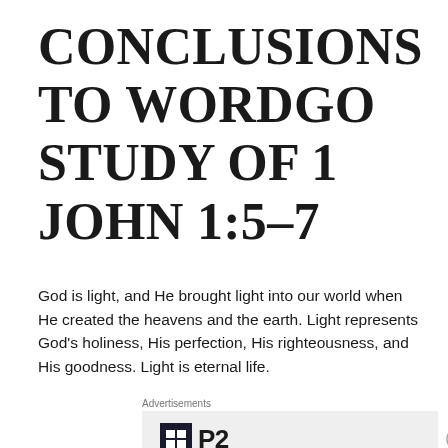CONCLUSIONS TO WORDGO STUDY OF 1 JOHN 1:5–7
God is light, and He brought light into our world when He created the heavens and the earth. Light represents God's holiness, His perfection, His righteousness, and His goodness. Light is eternal life.
[Figure (screenshot): Advertisement area with P2 logo on grey background]
[Figure (screenshot): Seamless food delivery advertisement with pizza photo, seamless logo badge in red, and ORDER NOW button in white box on dark background]